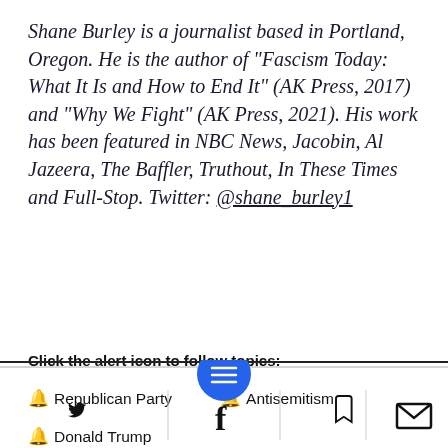Shane Burley is a journalist based in Portland, Oregon. He is the author of "Fascism Today: What It Is and How to End It" (AK Press, 2017) and "Why We Fight" (AK Press, 2021). His work has been featured in NBC News, Jacobin, Al Jazeera, The Baffler, Truthout, In These Times and Full-Stop. Twitter: @shane_burley1
Click the alert icon to follow topics:
Republican Party
Antisemitism
Donald Trump
[Figure (other): Bottom navigation bar with Twitter, Facebook, hamburger menu (blue circle), bookmark, and email icons]